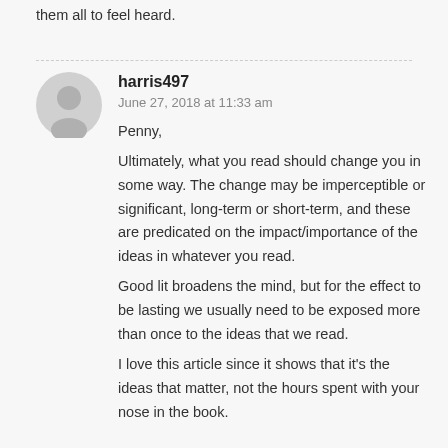them all to feel heard.
harris497
June 27, 2018 at 11:33 am

Penny,
Ultimately, what you read should change you in some way. The change may be imperceptible or significant, long-term or short-term, and these are predicated on the impact/importance of the ideas in whatever you read.
Good lit broadens the mind, but for the effect to be lasting we usually need to be exposed more than once to the ideas that we read.
I love this article since it shows that it's the ideas that matter, not the hours spent with your nose in the book.